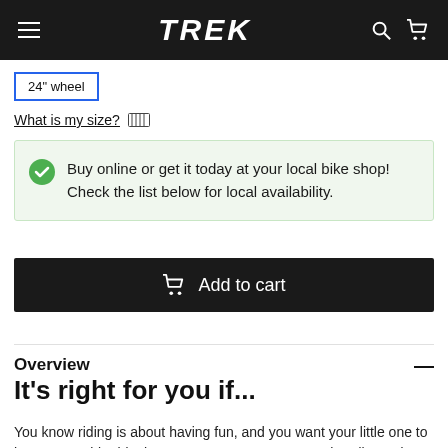TREK
24" wheel
What is my size?
Buy online or get it today at your local bike shop! Check the list below for local availability.
Add to cart
Overview
It's right for you if...
You know riding is about having fun, and you want your little one to have a capable ride that's easy to operate, easy to handle, and